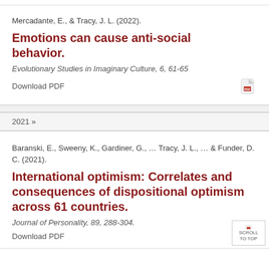Mercadante, E., & Tracy, J. L. (2022).
Emotions can cause anti-social behavior.
Evolutionary Studies in Imaginary Culture, 6, 61-65
Download PDF
2021 »
Baranski, E., Sweeny, K., Gardiner, G., … Tracy, J. L., … & Funder, D. C. (2021).
International optimism: Correlates and consequences of dispositional optimism across 61 countries.
Journal of Personality, 89, 288-304.
Download PDF